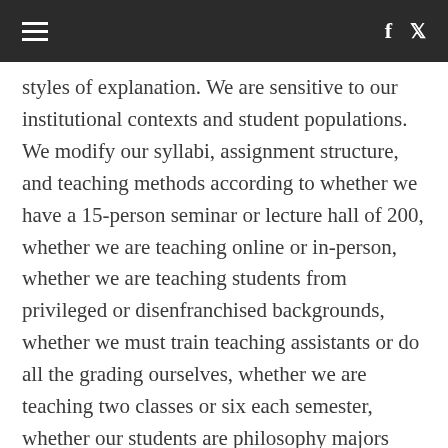≡  f  🐦
styles of explanation. We are sensitive to our institutional contexts and student populations. We modify our syllabi, assignment structure, and teaching methods according to whether we have a 15-person seminar or lecture hall of 200, whether we are teaching online or in-person, whether we are teaching students from privileged or disenfranchised backgrounds, whether we must train teaching assistants or do all the grading ourselves, whether we are teaching two classes or six each semester, whether our students are philosophy majors headed toward graduate school or two-year college students hoping to transfer to a four-year college, and so on. Context sensitivity is not important when you are telling.